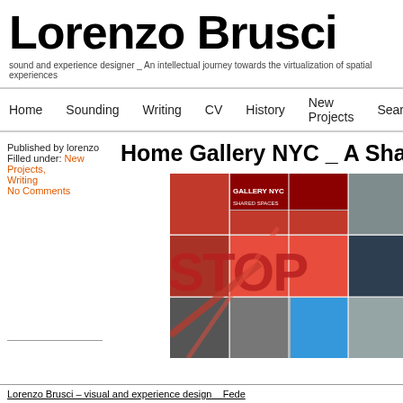Lorenzo Brusci
sound and experience designer _ An intellectual journey towards the virtualization of spatial experiences
Home | Sounding | Writing | CV | History | New Projects | Search
Published by lorenzo
Filled under: New Projects, Writing
No Comments
Home Gallery NYC _ A Sha...
[Figure (photo): Collage of colorful imagery with red overlaid text, partial word visible suggesting STOP, multiple small photographic panels]
Lorenzo Brusci – visual and experience design _ Fede...